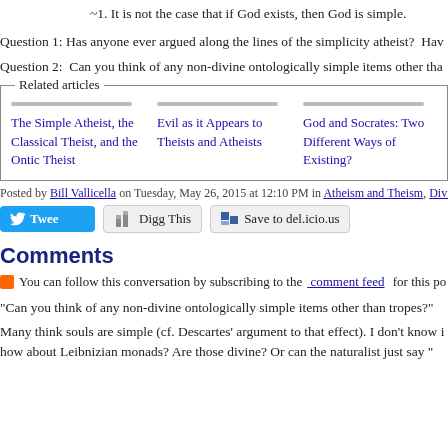~1. It is not the case that if God exists, then God is simple.
Question 1: Has anyone ever argued along the lines of the simplicity atheist?  Hav
Question 2:  Can you think of any non-divine ontologically simple items other tha
[Figure (other): Related articles box with three article links: 'The Simple Atheist, the Classical Theist, and the Ontic Theist', 'Evil as it Appears to Theists and Atheists', 'God and Socrates: Two Different Ways of Existing?']
Posted by Bill Vallicella on Tuesday, May 26, 2015 at 12:10 PM in Atheism and Theism, Divine S
[Figure (other): Social sharing buttons row: Tweet button (blue), Digg This button, Save to del.icio.us button]
Comments
You can follow this conversation by subscribing to the comment feed for this po
"Can you think of any non-divine ontologically simple items other than tropes?"
Many think souls are simple (cf. Descartes' argument to that effect). I don't know i how about Leibnizian monads? Are those divine? Or can the naturalist just say "